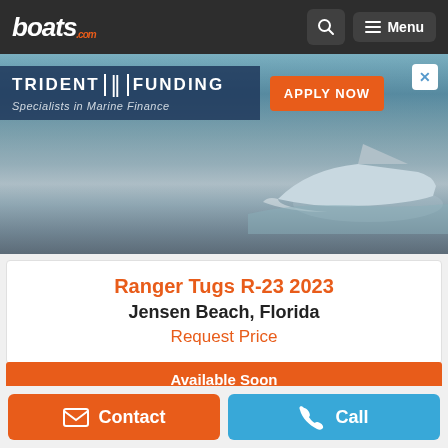boats.com — Menu
[Figure (photo): Advertisement banner for Trident Funding — Specialists in Marine Finance, with Apply Now button and photo of a speedboat on water]
Ranger Tugs R-23 2023
Jensen Beach, Florida
Request Price
Available Soon
Contact
Call